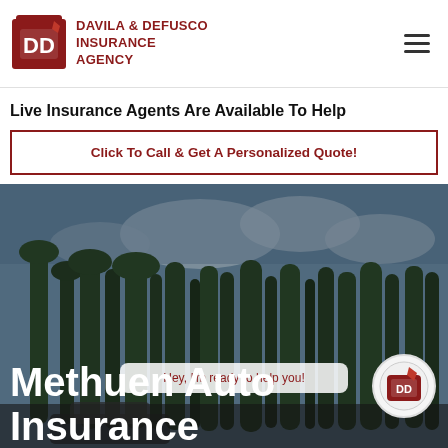[Figure (logo): Davila & DeFusco Insurance Agency logo with Massachusetts state shape in red and white with DD initials, next to agency name text]
DAVILA & DEFUSCO INSURANCE AGENCY
Live Insurance Agents Are Available To Help
Click To Call & Get A Personalized Quote!
[Figure (photo): Hero background image showing tall cypress trees against a partly cloudy sky with a car partially visible at the bottom]
Methuen Auto Insurance
Hey, I'm ready to help you!